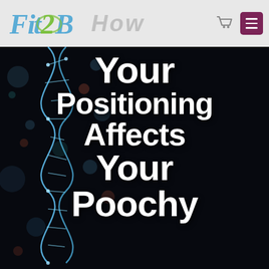Fit2B — How [navigation header with logo, cart icon, and menu button]
[Figure (photo): Dark background image of a glowing blue DNA double helix strand against a dark/black background with colorful bokeh lights (blue, orange, teal). Overlaid with large white bold text reading: 'Your Positioning Affects Your Poochy']